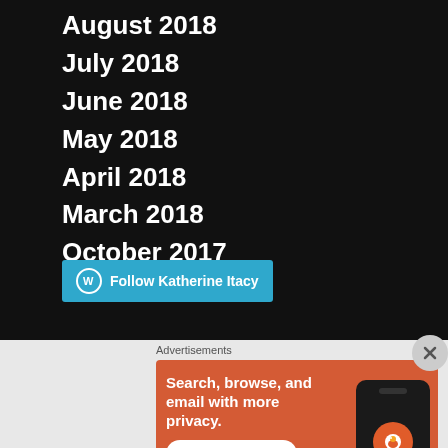August 2018
July 2018
June 2018
May 2018
April 2018
March 2018
October 2017
[Figure (other): Follow Katherine Itacy button with WordPress icon]
Advertisements
[Figure (other): DuckDuckGo advertisement banner: Search, browse, and email with more privacy. All in One Free App. Shows DuckDuckGo logo on a phone.]